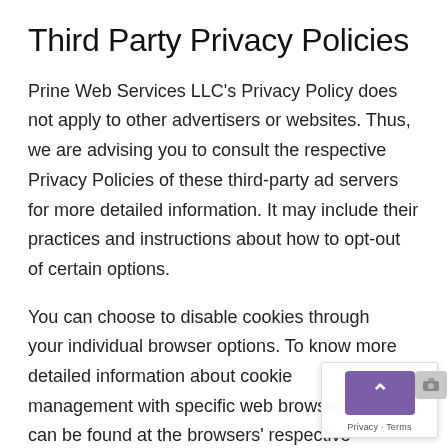Third Party Privacy Policies
Prine Web Services LLC's Privacy Policy does not apply to other advertisers or websites. Thus, we are advising you to consult the respective Privacy Policies of these third-party ad servers for more detailed information. It may include their practices and instructions about how to opt-out of certain options.
You can choose to disable cookies through your individual browser options. To know more detailed information about cookie management with specific web browsers, it can be found at the browsers' respective websites. What Are Cookies?